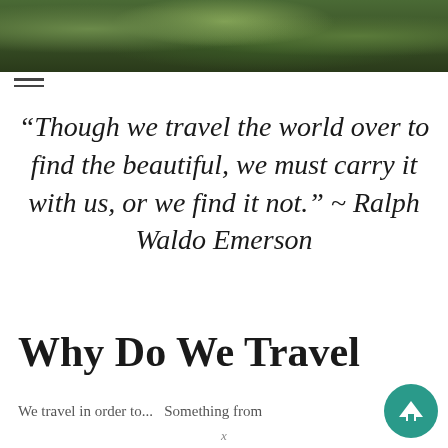[Figure (photo): Landscape photo banner showing rocky mountain terrain with dense green forest/trees in the background]
“Though we travel the world over to find the beautiful, we must carry it with us, or we find it not.” ~ Ralph Waldo Emerson
Why Do We Travel
We travel in order to... Something from...